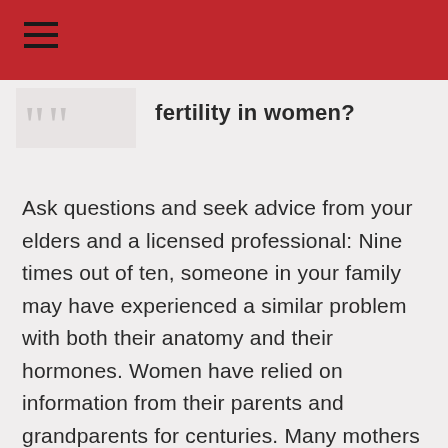fertility in women?
Ask questions and seek advice from your elders and a licensed professional: Nine times out of ten, someone in your family may have experienced a similar problem with both their anatomy and their hormones. Women have relied on information from their parents and grandparents for centuries. Many mothers are in the profession of nursing and provide a host of support for the entire family. Some